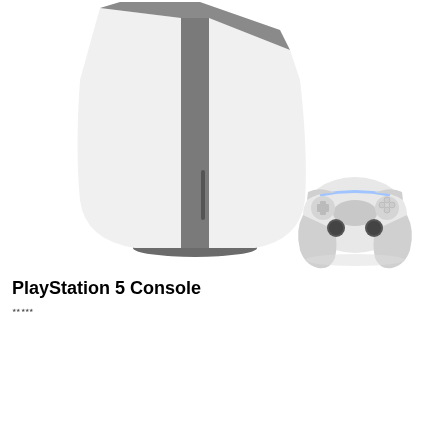[Figure (photo): PlayStation 5 console standing vertically with its white and dark grey design, alongside a white DualSense wireless controller, photographed on a white background]
PlayStation 5 Console
Rating and review information (very small, partially legible)